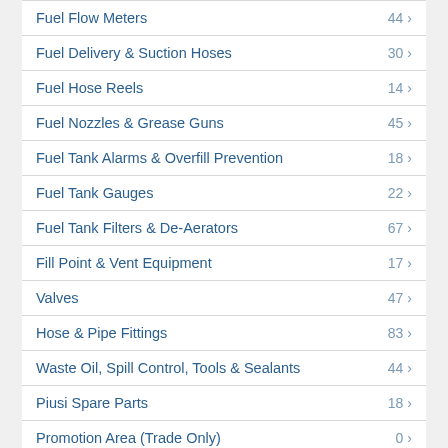Fuel Flow Meters 44
Fuel Delivery & Suction Hoses 30
Fuel Hose Reels 14
Fuel Nozzles & Grease Guns 45
Fuel Tank Alarms & Overfill Prevention 18
Fuel Tank Gauges 22
Fuel Tank Filters & De-Aerators 67
Fill Point & Vent Equipment 17
Valves 47
Hose & Pipe Fittings 83
Waste Oil, Spill Control, Tools & Sealants 44
Piusi Spare Parts 18
Promotion Area (Trade Only) 0